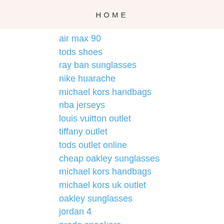HOME
air max 90
tods shoes
ray ban sunglasses
nike huarache
michael kors handbags
nba jerseys
louis vuitton outlet
tiffany outlet
tods outlet online
cheap oakley sunglasses
michael kors handbags
michael kors uk outlet
oakley sunglasses
jordan 4
prada sneakers
iphone case uk
pandora jewelry
kobe bryant shoes
michael kors wallet
vans shoes